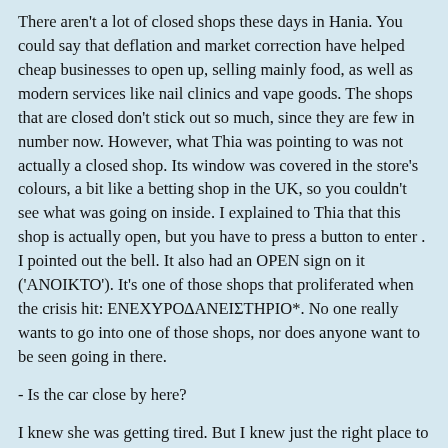There aren't a lot of closed shops these days in Hania. You could say that deflation and market correction have helped cheap businesses to open up, selling mainly food, as well as modern services like nail clinics and vape goods. The shops that are closed don't stick out so much, since they are few in number now. However, what Thia was pointing to was not actually a closed shop. Its window was covered in the store's colours, a bit like a betting shop in the UK, so you couldn't see what was going on inside. I explained to Thia that this shop is actually open, but you have to press a button to enter . I pointed out the bell. It also had an OPEN sign on it ('ANOIKTO'). It's one of those shops that proliferated when the crisis hit: ΕΝΕΧΥΡΟΔΑΝΕΙΣΤΗΡΙΟ*. No one really wants to go into one of those shops, nor does anyone want to be seen going in there.
- Is the car close by here?
I knew she was getting tired. But I knew just the right place to make her forget about her physical state. We passed by a florist, who I waved to, and she came rushing out to greet me. I then explained to Thia who this person was: her first cousin's daughter (making me and the florist second cousins). Thia's face lit up when